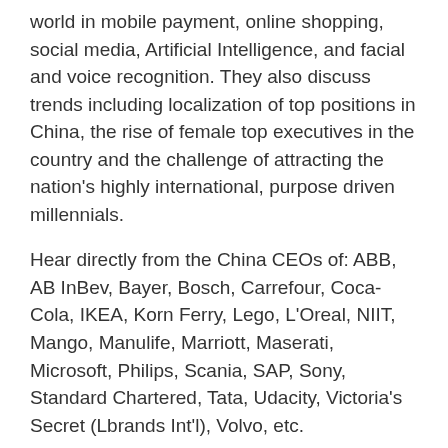world in mobile payment, online shopping, social media, Artificial Intelligence, and facial and voice recognition. They also discuss trends including localization of top positions in China, the rise of female top executives in the country and the challenge of attracting the nation's highly international, purpose driven millennials.
Hear directly from the China CEOs of: ABB, AB InBev, Bayer, Bosch, Carrefour, Coca-Cola, IKEA, Korn Ferry, Lego, L'Oreal, NIIT, Mango, Manulife, Marriott, Maserati, Microsoft, Philips, Scania, SAP, Sony, Standard Chartered, Tata, Udacity, Victoria's Secret (Lbrands Int'l), Volvo, etc.
Learn from seasoned China experts at McKinsey & Co, Economist Group, and more
Written in a practical, easy-to-read format ideal for busy professionals, educators, and students
China CEO II: Voices of Experience from 25 Top